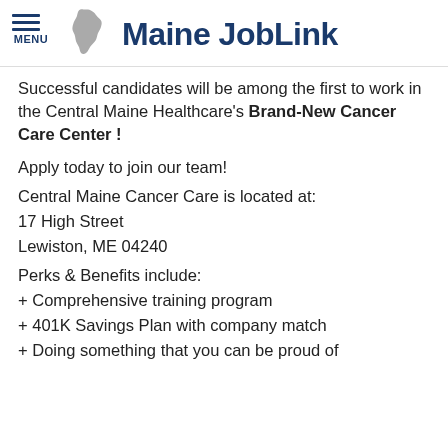Maine JobLink
Successful candidates will be among the first to work in the Central Maine Healthcare's Brand-New Cancer Care Center !
Apply today to join our team!
Central Maine Cancer Care is located at:
17 High Street
Lewiston, ME 04240
Perks & Benefits include:
+ Comprehensive training program
+ 401K Savings Plan with company match
+ Doing something that you can be proud of